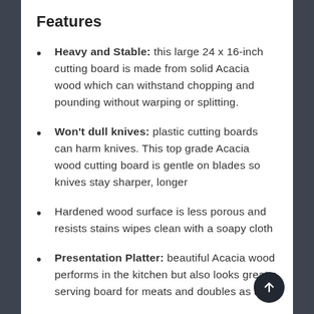Features
Heavy and Stable: this large 24 x 16-inch cutting board is made from solid Acacia wood which can withstand chopping and pounding without warping or splitting.
Won't dull knives: plastic cutting boards can harm knives. This top grade Acacia wood cutting board is gentle on blades so knives stay sharper, longer
Hardened wood surface is less porous and resists stains wipes clean with a soapy cloth
Presentation Platter: beautiful Acacia wood performs in the kitchen but also looks great a serving board for meats and doubles as a